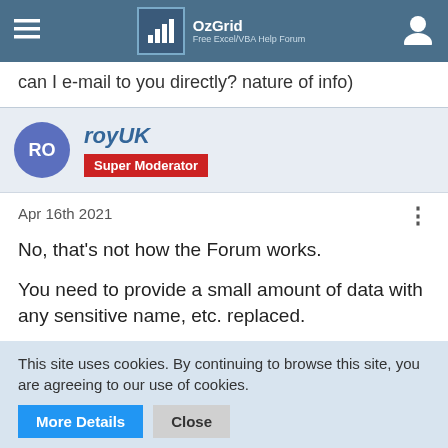OzGrid Free Excel/VBA Help Forum
can I e-mail to you directly? nature of info)
royUK
Super Moderator
Apr 16th 2021
No, that's not how the Forum works.

You need to provide a small amount of data with any sensitive name, etc. replaced.
This site uses cookies. By continuing to browse this site, you are agreeing to our use of cookies.